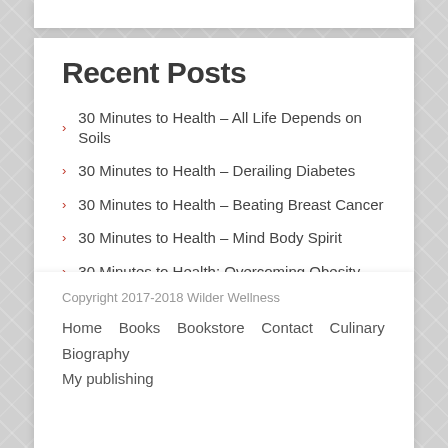Recent Posts
30 Minutes to Health – All Life Depends on Soils
30 Minutes to Health – Derailing Diabetes
30 Minutes to Health – Beating Breast Cancer
30 Minutes to Health – Mind Body Spirit
30 Minutes to Health: Overcoming Obesity
Copyright 2017-2018 Wilder Wellness
Home   Books   Bookstore   Contact   Culinary Biography
My publishing